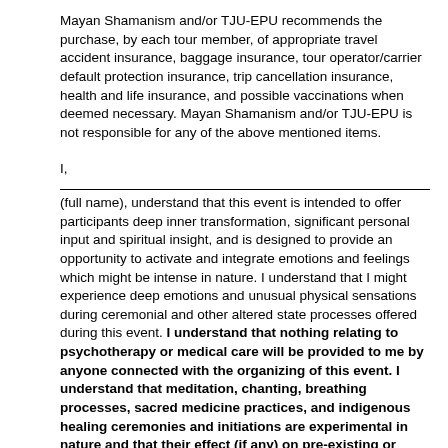Mayan Shamanism and/or TJU-EPU recommends the purchase, by each tour member, of appropriate travel accident insurance, baggage insurance, tour operator/carrier default protection insurance, trip cancellation insurance, health and life insurance, and possible vaccinations when deemed necessary. Mayan Shamanism and/or TJU-EPU is not responsible for any of the above mentioned items.
I,
(full name), understand that this event is intended to offer participants deep inner transformation, significant personal input and spiritual insight, and is designed to provide an opportunity to activate and integrate emotions and feelings which might be intense in nature. I understand that I might experience deep emotions and unusual physical sensations during ceremonial and other altered state processes offered during this event. I understand that nothing relating to psychotherapy or medical care will be provided to me by anyone connected with the organizing of this event. I understand that meditation, chanting, breathing processes, sacred medicine practices, and indigenous healing ceremonies and initiations are experimental in nature and that their effect (if any) on pre-existing or latent pathological mental, emotional, or physical conditions is unknown. I understand that no claims are made about any specific results that I might receive from this self-transformational event. I understand that this event is a self-selected improvement process and that all results that I get from this event are created by me and by no one